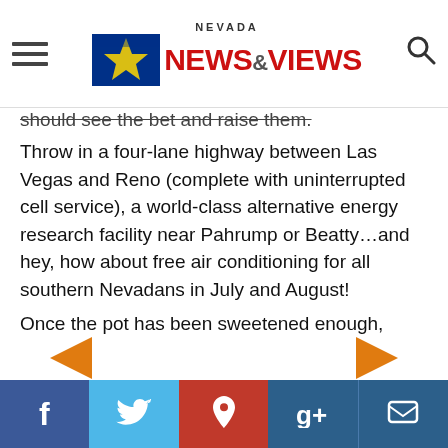Nevada News & Views
should see the bet and raise them.
Throw in a four-lane highway between Las Vegas and Reno (complete with uninterrupted cell service), a world-class alternative energy research facility near Pahrump or Beatty…and hey, how about free air conditioning for all southern Nevadans in July and August!
Once the pot has been sweetened enough, THEN ask Nevadans – not the politicians – what they think.  I'm guessing public opinion will change dramatically.
Make us a deal we can't refuse…and let's move on.
Social share bar: Facebook, Twitter, Pinterest, Google+, Comments